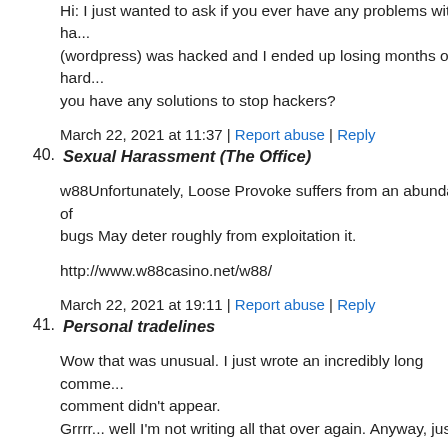Hi: I just wanted to ask if you ever have any problems with ha... (wordpress) was hacked and I ended up losing months of hard... you have any solutions to stop hackers?
March 22, 2021 at 11:37 | Report abuse | Reply
40. Sexual Harassment (The Office)
w88Unfortunately, Loose Provoke suffers from an abundance of bugs May deter roughly from exploitation it.
http://www.w88casino.net/w88/
March 22, 2021 at 19:11 | Report abuse | Reply
41. Personal tradelines
Wow that was unusual. I just wrote an incredibly long comme... comment didn't appear.
Grrrr... well I'm not writing all that over again. Anyway, just w... say excellent blog!
my website; Personal tradelines
March 23, 2021 at 00:54 | Report abuse | Reply
42. FbshEncox
https://thesisacloud.com/ – thesis statistics help thesis writing s...